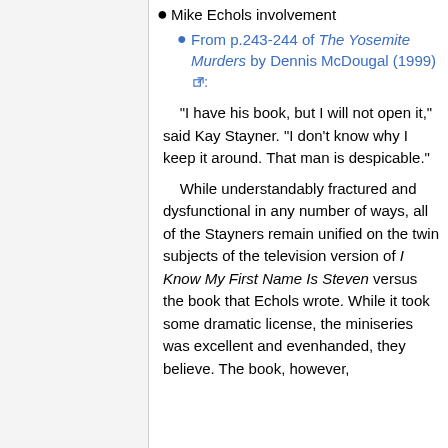Mike Echols involvement
From p.243-244 of The Yosemite Murders by Dennis McDougal (1999):
"I have his book, but I will not open it," said Kay Stayner. "I don't know why I keep it around. That man is despicable."
    While understandably fractured and dysfunctional in any number of ways, all of the Stayners remain unified on the twin subjects of the television version of I Know My First Name Is Steven versus the book that Echols wrote. While it took some dramatic license, the miniseries was excellent and evenhanded, they believe. The book, however,